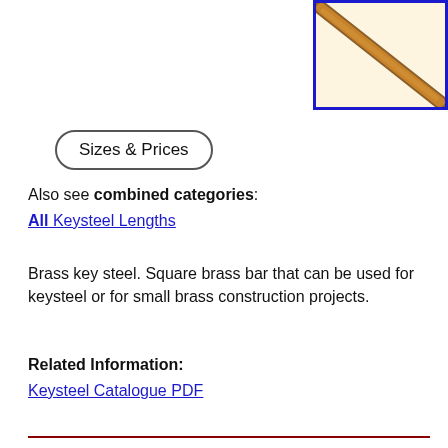[Figure (photo): A diagonal brass square bar rod on a cream/off-white background, shown close up, with a blue border frame around the image.]
Sizes & Prices
Also see combined categories:
All Keysteel Lengths
Brass key steel. Square brass bar that can be used for keysteel or for small brass construction projects.
Related Information:
Keysteel Catalogue PDF